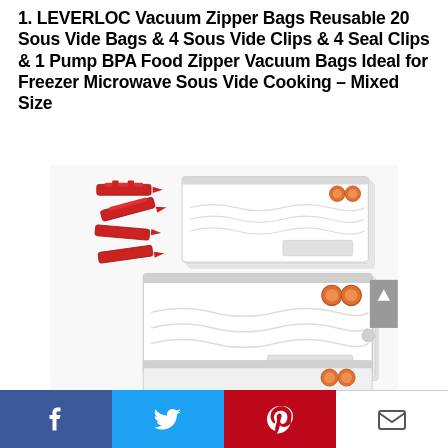1. LEVERLOC Vacuum Zipper Bags Reusable 20 Sous Vide Bags & 4 Sous Vide Clips & 4 Seal Clips & 1 Pump BPA Food Zipper Vacuum Bags Ideal for Freezer Microwave Sous Vide Cooking – Mixed Size
[Figure (photo): Product photo showing LEVERLOC vacuum zipper bags: a stack of clear reusable sous vide bags with orange valve buttons on the right side, and red seal clips/clamps displayed to the left. Multiple stacked bags visible, showing the bag set contents.]
[Figure (screenshot): Social media sharing bar at the bottom with four buttons: Facebook (blue), Twitter (light blue), Pinterest (red), and Email (white) icons.]